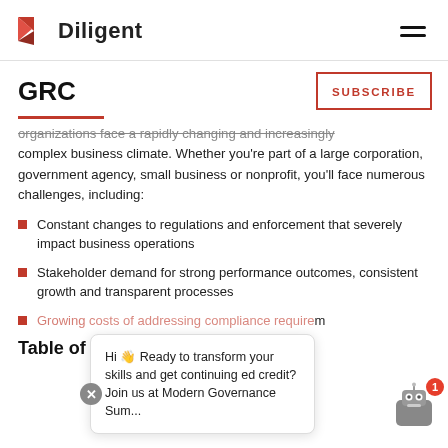Diligent
GRC
organizations face a rapidly changing and increasingly complex business climate. Whether you're part of a large corporation, government agency, small business or nonprofit, you'll face numerous challenges, including:
Constant changes to regulations and enforcement that severely impact business operations
Stakeholder demand for strong performance outcomes, consistent growth and transparent processes
Growing costs of addressing compliance requirements
Table of Contents